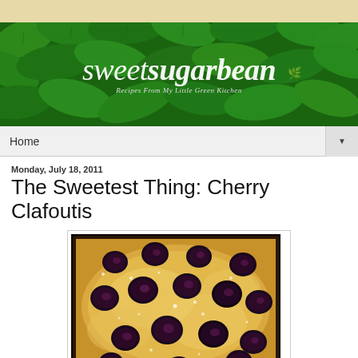[Figure (photo): Blog header banner with green leaves background and 'sweetsugarbean' text in white italic serif font, subtitle reads 'Recipes From My Little Green Kitchen']
Home
Monday, July 18, 2011
The Sweetest Thing: Cherry Clafoutis
[Figure (photo): Close-up photo of Cherry Clafoutis in a dark baking pan, showing dark cherries embedded in a golden custard batter dusted with powdered sugar]